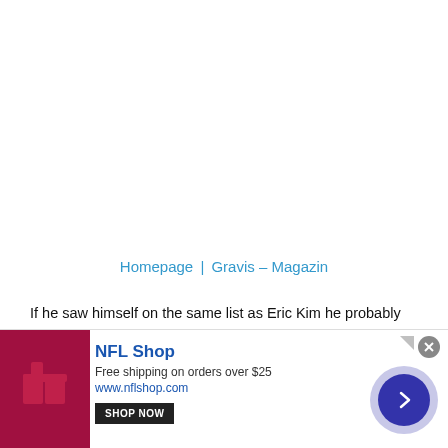Homepage | Gravis – Magazin
If he saw himself on the same list as Eric Kim he probably would be pissed and he wouldn't withhold his opinion. But that's the reason why he definitely needs to be on the list. He has very strong opinions about the current state of (Street) Photography and doesn't care how
[Figure (other): Advertisement banner for NFL Shop. Shows a dark red/maroon product image on left, with text 'NFL Shop', 'Free shipping on orders over $25', 'www.nflshop.com', a 'SHOP NOW' button, a close (X) button, and a blue circular navigation arrow on the right.]